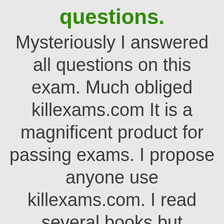questions.
Mysteriously I answered all questions on this exam. Much obliged killexams.com It is a magnificent product for passing exams. I propose anyone use killexams.com. I read several books but